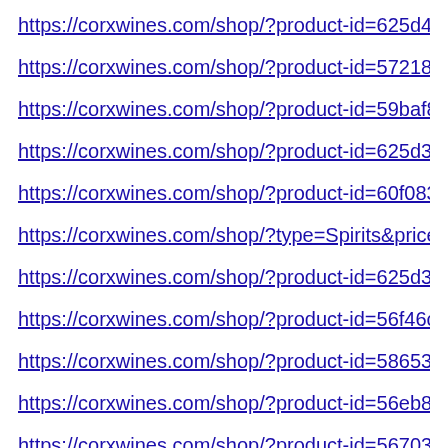https://corxwines.com/shop/?product-id=625d43eec2a3e…
https://corxwines.com/shop/?product-id=5721874e6970…
https://corxwines.com/shop/?product-id=59baf8190b2f3…
https://corxwines.com/shop/?product-id=625d3ca57aa6f…
https://corxwines.com/shop/?product-id=60f0834b1d7ea…
https://corxwines.com/shop/?type=Spirits&price_range=…
https://corxwines.com/shop/?product-id=625d3b416651…
https://corxwines.com/shop/?product-id=56f46c9869702…
https://corxwines.com/shop/?product-id=58653870bfb2…
https://corxwines.com/shop/?product-id=56eb8b8f69702…
https://corxwines.com/shop/?product-id=567036857562…